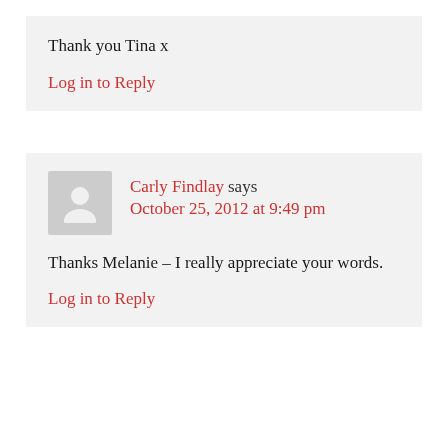Thank you Tina x
Log in to Reply
Carly Findlay says
October 25, 2012 at 9:49 pm
Thanks Melanie – I really appreciate your words.
Log in to Reply